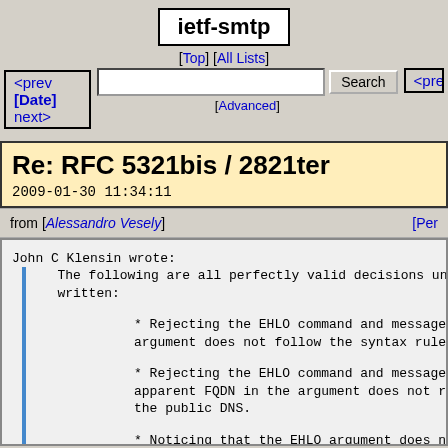ietf-smtp
[Top] [All Lists]
Search [Advanced]
<prev [Date] next> <prev
Re: RFC 5321bis / 2821ter
2009-01-30 11:34:11
from [Alessandro Vesely] [Per
John C Klensin wrote:
  The following are all perfectly valid decisions under
  written:

    * Rejecting the EHLO command and message beca
    argument does not follow the syntax rules.

    * Rejecting the EHLO command and message beca
    apparent FQDN in the argument does not resolv
    the public DNS.

    * Noticing that the EHLO argument does not re
    the address obtained from the connection, wri
    private-use header into the message that reco
    fact, and then forwarding/delivering the mess